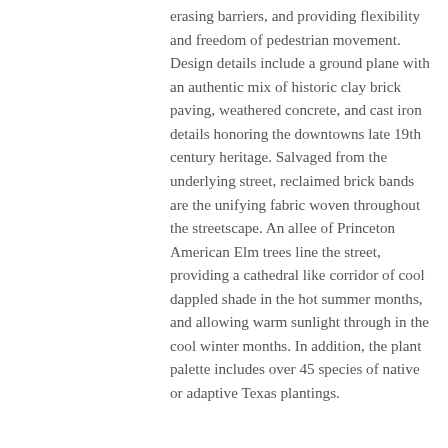erasing barriers, and providing flexibility and freedom of pedestrian movement. Design details include a ground plane with an authentic mix of historic clay brick paving, weathered concrete, and cast iron details honoring the downtowns late 19th century heritage. Salvaged from the underlying street, reclaimed brick bands are the unifying fabric woven throughout the streetscape. An allee of Princeton American Elm trees line the street, providing a cathedral like corridor of cool dappled shade in the hot summer months, and allowing warm sunlight through in the cool winter months. In addition, the plant palette includes over 45 species of native or adaptive Texas plantings.